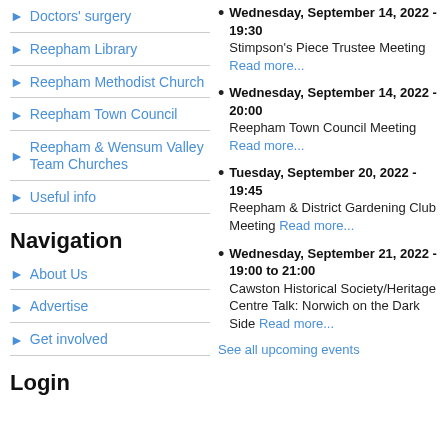Doctors' surgery
Reepham Library
Reepham Methodist Church
Reepham Town Council
Reepham & Wensum Valley Team Churches
Useful info
Navigation
About Us
Advertise
Get involved
Login
Wednesday, September 14, 2022 - 19:30
Stimpson's Piece Trustee Meeting Read more...
Wednesday, September 14, 2022 - 20:00
Reepham Town Council Meeting Read more...
Tuesday, September 20, 2022 - 19:45
Reepham & District Gardening Club Meeting Read more...
Wednesday, September 21, 2022 - 19:00 to 21:00
Cawston Historical Society/Heritage Centre Talk: Norwich on the Dark Side Read more...
See all upcoming events